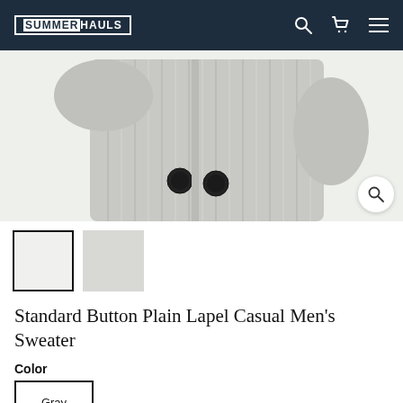SUMMERHAULS
[Figure (photo): Gray ribbed knit cardigan sweater with dark buttons, shown from front/torso area. Product image on light background.]
[Figure (photo): Two product thumbnail images of the gray sweater]
Standard Button Plain Lapel Casual Men's Sweater
Color
Gray
Size